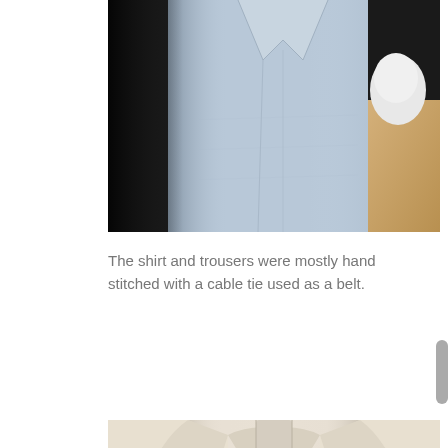[Figure (photo): Photo of a doll or mannequin wearing a light blue button-up shirt, partially visible, with dark background and a beige surface on the right side.]
The shirt and trousers were mostly hand stitched with a cable tie used as a belt.
[Figure (photo): Photo of a small doll or figure wearing a white/cream jacket with a collar and seam details down the back, photographed from behind, with black trousers visible at the bottom, against a beige/cream wall background.]